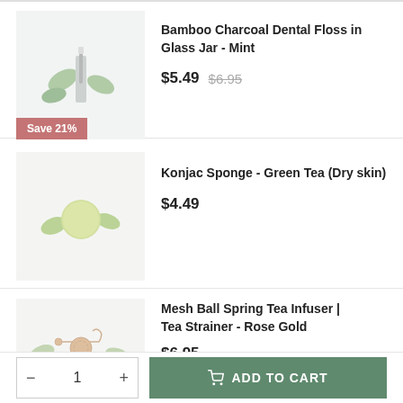[Figure (photo): Product thumbnail: Bamboo Charcoal Dental Floss in Glass Jar with 'Save 21%' badge]
Bamboo Charcoal Dental Floss in Glass Jar - Mint
$5.49  $6.95
[Figure (photo): Product thumbnail: Konjac Sponge - Green Tea (Dry skin), light green ball]
Konjac Sponge - Green Tea (Dry skin)
$4.49
[Figure (photo): Product thumbnail: Mesh Ball Spring Tea Infuser / Tea Strainer - Rose Gold]
Mesh Ball Spring Tea Infuser | Tea Strainer - Rose Gold
$6.95
ADD TO CART